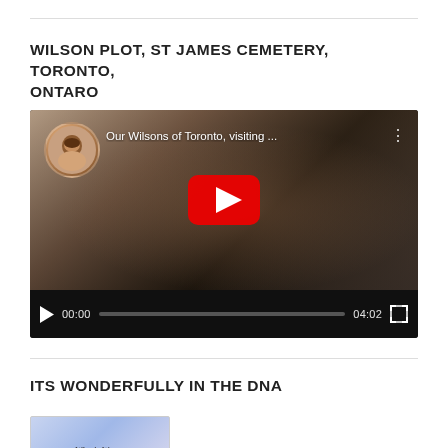WILSON PLOT, ST JAMES CEMETERY, TORONTO, ONTARO
[Figure (screenshot): YouTube video player showing 'Our Wilsons of Toronto, visiting ...' with a play button, video thumbnail of hands near dirt/ground, avatar of a child in top left, timestamp 00:00 and duration 04:02, fullscreen button]
ITS WONDERFULLY IN THE DNA
[Figure (screenshot): Thumbnail image with text 'What's Wrong With The Fight Assassin?' in italic script on a light blue/purple background]